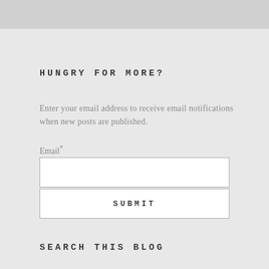HUNGRY FOR MORE?
Enter your email address to receive email notifications when new posts are published.
Email*
[Figure (other): Email input text field box]
[Figure (other): Submit button with label SUBMIT]
SEARCH THIS BLOG